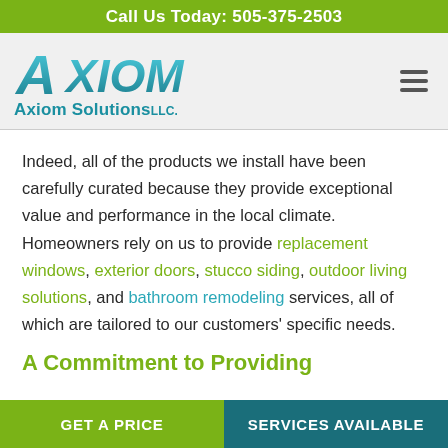Call Us Today: 505-375-2503
[Figure (logo): Axiom Solutions LLC logo with teal/blue stylized text and italic design]
Indeed, all of the products we install have been carefully curated because they provide exceptional value and performance in the local climate. Homeowners rely on us to provide replacement windows, exterior doors, stucco siding, outdoor living solutions, and bathroom remodeling services, all of which are tailored to our customers' specific needs.
A Commitment to Providing
GET A PRICE
SERVICES AVAILABLE